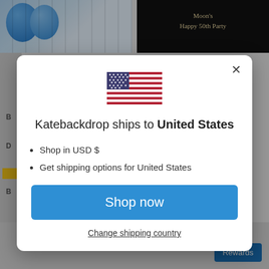[Figure (screenshot): Background website page showing product images and bottom banner with 'Happy Shooting Together!' text]
[Figure (illustration): US flag emoji/icon displayed at top of modal dialog]
Katebackdrop ships to United States
Shop in USD $
Get shipping options for United States
Shop now
Change shipping country
Happy Shooting Together!
Rewards